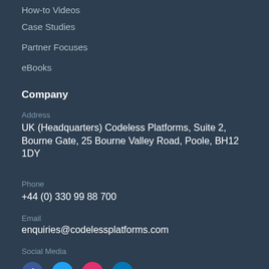How-to Videos
Case Studies
Partner Focuses
eBooks
Company
Address
UK (Headquarters) Codeless Platforms, Suite 2, Bourne Gate, 25 Bourne Valley Road, Poole, BH12 1DY
Phone
+44 (0) 330 99 88 700
Email
enquiries@codelessplatforms.com
Social Media